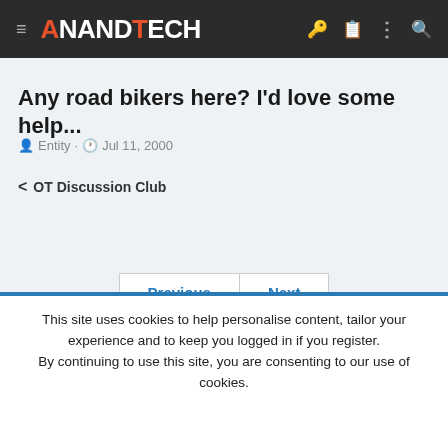AnandTech
Any road bikers here? I'd love some help...
Entity · Jul 11, 2000
< OT Discussion Club
Previous  Next
This site uses cookies to help personalise content, tailor your experience and to keep you logged in if you register. By continuing to use this site, you are consenting to our use of cookies.